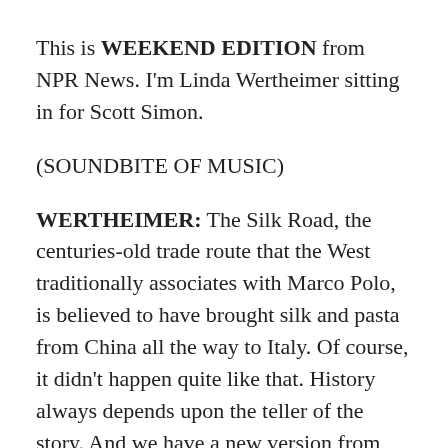This is WEEKEND EDITION from NPR News. I'm Linda Wertheimer sitting in for Scott Simon.
(SOUNDBITE OF MUSIC)
WERTHEIMER: The Silk Road, the centuries-old trade route that the West traditionally associates with Marco Polo, is believed to have brought silk and pasta from China all the way to Italy. Of course, it didn't happen quite like that. History always depends upon the teller of the story. And we have a new version from Jen Lin-Liu. She's an American food writer who lives and works in China.
(SOUNDBITE OF MUSIC)
WERTHEIMER: She's written a book called "On the Noodle